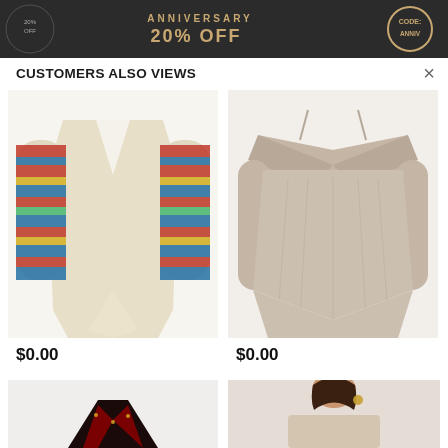[Figure (screenshot): Dark banner at top of page with anniversary sale text and promo code badge]
CUSTOMERS ALSO VIEWS
[Figure (photo): Beige cardigan with colorful aztec/tribal pattern long sleeves]
[Figure (photo): Taupe/khaki off-shoulder long sleeve top with criss-cross neckline and flowy fit]
$0.00
$0.00
[Figure (photo): Partial view of a dark red/black patterned top at the bottom left]
[Figure (photo): Partial view of a woman wearing a beige sweater at bottom right]